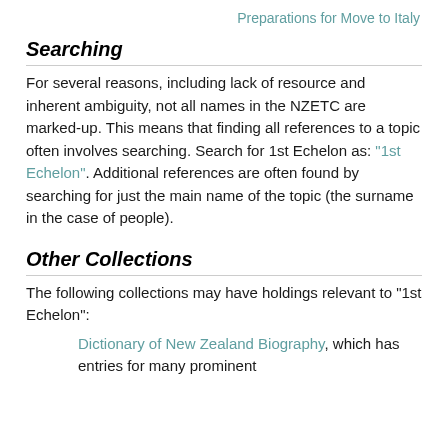Preparations for Move to Italy
Searching
For several reasons, including lack of resource and inherent ambiguity, not all names in the NZETC are marked-up. This means that finding all references to a topic often involves searching. Search for 1st Echelon as: "1st Echelon". Additional references are often found by searching for just the main name of the topic (the surname in the case of people).
Other Collections
The following collections may have holdings relevant to "1st Echelon":
Dictionary of New Zealand Biography, which has entries for many prominent